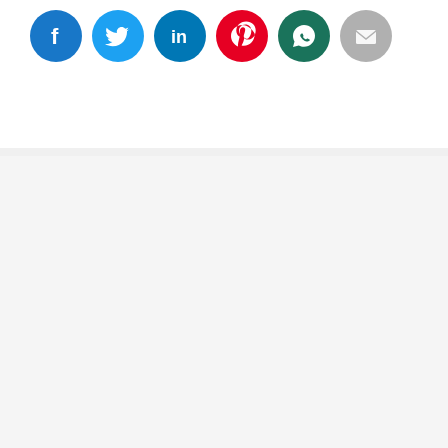[Figure (illustration): A row of six social media sharing icon circles: Facebook (blue), Twitter (light blue), LinkedIn (dark blue), Pinterest (red), WhatsApp (dark green), and Email (gray).]